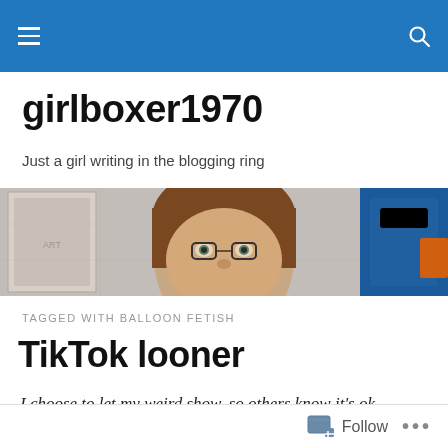girlboxer1970 — navigation bar with hamburger menu and search icon
girlboxer1970
Just a girl writing in the blogging ring
[Figure (photo): Hero image showing a woman with brown hair, partial face visible, against a cinder block wall background with blue bag on the right]
TAGGED WITH BALLOON FETISH
TikTok looner
I choose to let my weird show, so others know it's ok.
Follow  •••